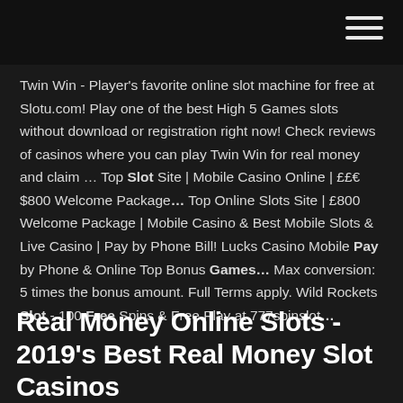[navigation bar with hamburger menu icon]
Twin Win - Player's favorite online slot machine for free at Slotu.com! Play one of the best High 5 Games slots without download or registration right now! Check reviews of casinos where you can play Twin Win for real money and claim … Top Slot Site | Mobile Casino Online | ££€$800 Welcome Package… Top Online Slots Site | £800 Welcome Package | Mobile Casino & Best Mobile Slots & Live Casino | Pay by Phone Bill! Lucks Casino Mobile Pay by Phone & Online Top Bonus Games… Max conversion: 5 times the bonus amount. Full Terms apply. Wild Rockets Slot - 100 Free Spins & Free Play at 777spinslot…
Real Money Online Slots - 2019's Best Real Money Slot Casinos